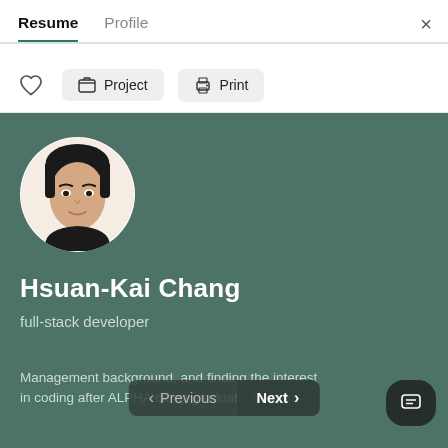Resume  Profile  ×
♡  Project  Print
[Figure (photo): Circular profile photo of Hsuan-Kai Chang, a young man with black hair wearing a black shirt, on a teal/dark green background card]
Hsuan-Kai Chang
full-stack developer
Management background, and finding the interest in coding after ALPHA camp graduate, looking